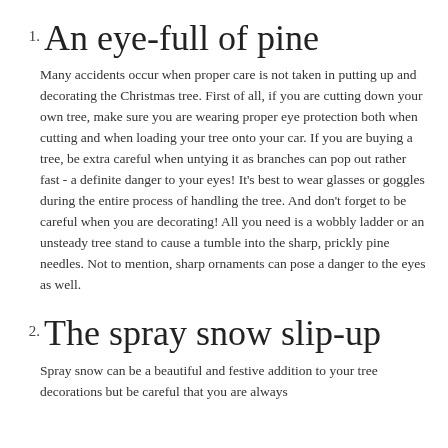1. An eye-full of pine
Many accidents occur when proper care is not taken in putting up and decorating the Christmas tree. First of all, if you are cutting down your own tree, make sure you are wearing proper eye protection both when cutting and when loading your tree onto your car. If you are buying a tree, be extra careful when untying it as branches can pop out rather fast - a definite danger to your eyes! It’s best to wear glasses or goggles during the entire process of handling the tree. And don’t forget to be careful when you are decorating! All you need is a wobbly ladder or an unsteady tree stand to cause a tumble into the sharp, prickly pine needles. Not to mention, sharp ornaments can pose a danger to the eyes as well.
2. The spray snow slip-up
Spray snow can be a beautiful and festive addition to your tree decorations but be careful that you are always